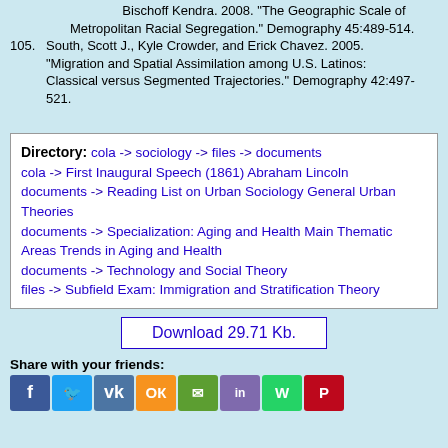Bischoff Kendra. 2008. "The Geographic Scale of Metropolitan Racial Segregation." Demography 45:489-514.
105. South, Scott J., Kyle Crowder, and Erick Chavez. 2005. "Migration and Spatial Assimilation among U.S. Latinos: Classical versus Segmented Trajectories." Demography 42:497-521.
Directory: cola -> sociology -> files -> documents
cola -> First Inaugural Speech (1861) Abraham Lincoln
documents -> Reading List on Urban Sociology General Urban Theories
documents -> Specialization: Aging and Health Main Thematic Areas Trends in Aging and Health
documents -> Technology and Social Theory
files -> Subfield Exam: Immigration and Stratification Theory
Download 29.71 Kb.
Share with your friends: